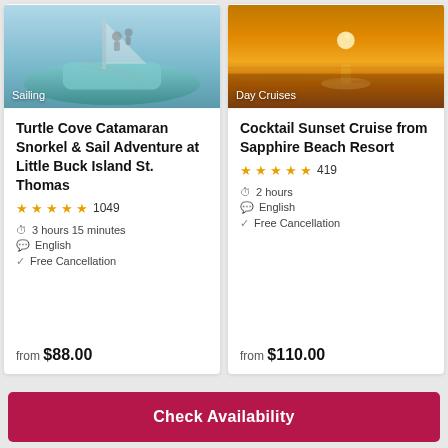[Figure (photo): Sailing catamaran image with 'Sailing' badge overlay]
Turtle Cove Catamaran Snorkel & Sail Adventure at Little Buck Island St. Thomas
★★★★★ 1049
3 hours 15 minutes
English
Free Cancellation
from $88.00
[Figure (photo): Sunset beach/ocean image with 'Day Cruises' badge overlay]
Cocktail Sunset Cruise from Sapphire Beach Resort
★★★★★ 419
2 hours
English
Free Cancellation
from $110.00
Check Availability